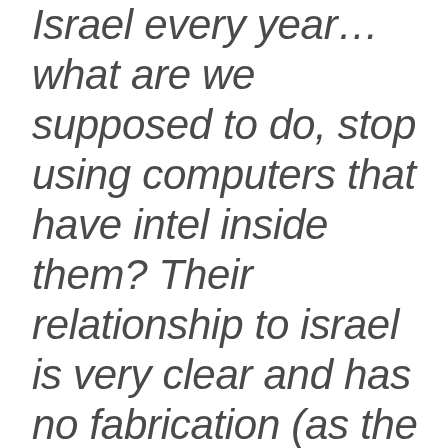Israel every year…what are we supposed to do, stop using computers that have intel inside them? Their relationship to israel is very clear and has no fabrication (as the case of Jordan Festival) so all those in favor of boycott should use the same principle and turn